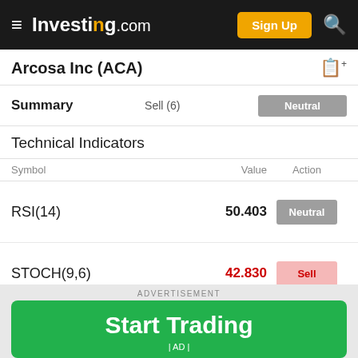Investing.com — Sign Up
Arcosa Inc (ACA)
Summary — Sell (6) — Neutral
Technical Indicators
| Symbol | Value | Action |
| --- | --- | --- |
| RSI(14) | 50.403 | Neutral |
| STOCH(9,6) | 42.830 | Sell |
| STOCHRSI(14) | 0.000 | Oversold |
ADVERTISEMENT — Start Trading | AD |